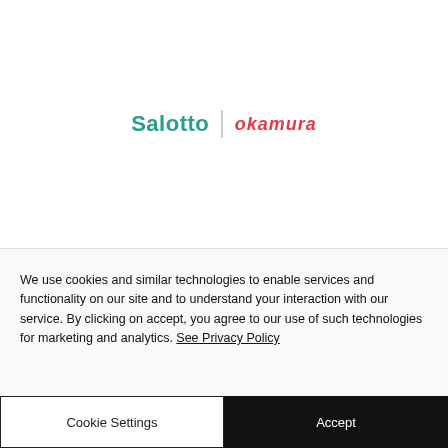[Figure (logo): Salotto | okamura logo — teal bold text 'Salotto', vertical divider, red italic bold text 'okamura']
We use cookies and similar technologies to enable services and functionality on our site and to understand your interaction with our service. By clicking on accept, you agree to our use of such technologies for marketing and analytics. See Privacy Policy
Cookie Settings
Accept